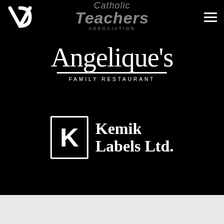[Figure (logo): VD monogram logo in white on black background]
[Figure (logo): Catholic Teachers Association logo in gray text on black background]
[Figure (logo): Hamburger menu icon (three horizontal white lines) on black background]
[Figure (logo): Angelique's Family Restaurant logo in white script with underline on black background]
[Figure (logo): Kemik Labels Ltd. logo with K in bordered box and bold serif text on black background]